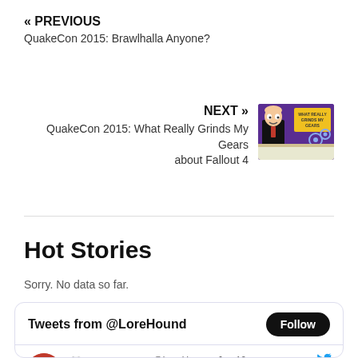« PREVIOUS
QuakeCon 2015: Brawlhalla Anyone?
NEXT »
QuakeCon 2015: What Really Grinds My Gears about Fallout 4
[Figure (screenshot): Thumbnail image for next article showing an animated character at a podium with gears]
Hot Stories
Sorry. No data so far.
Tweets from @LoreHound
🎮Lorehound ... @LoreHou... · Jun 19
I can't recall the last game that so many of my friends got day 1. TMNT: Shredder's Revenge is a hard dose of nostalgia executed to near